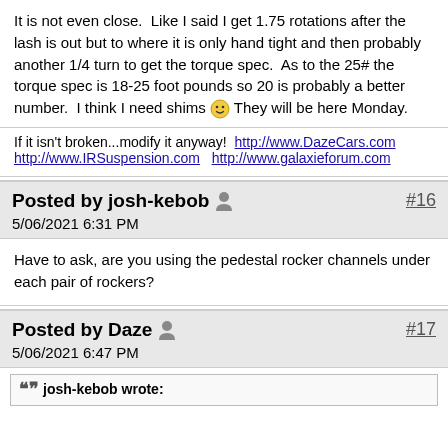It is not even close.  Like I said I get 1.75 rotations after the lash is out but to where it is only hand tight and then probably another 1/4 turn to get the torque spec.  As to the 25# the torque spec is 18-25 foot pounds so 20 is probably a better number.  I think I need shims 🙂 They will be here Monday.
If it isn't broken...modify it anyway! http://www.DazeCars.com http://www.IRSuspension.com  http://www.galaxieforum.com
Posted by josh-kebob #16 5/06/2021 6:31 PM
Have to ask, are you using the pedestal rocker channels under each pair of rockers?
Posted by Daze #17 5/06/2021 6:47 PM
josh-kebob wrote: